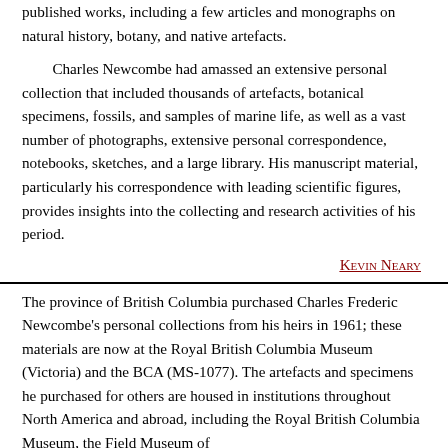published works, including a few articles and monographs on natural history, botany, and native artefacts.
Charles Newcombe had amassed an extensive personal collection that included thousands of artefacts, botanical specimens, fossils, and samples of marine life, as well as a vast number of photographs, extensive personal correspondence, notebooks, sketches, and a large library. His manuscript material, particularly his correspondence with leading scientific figures, provides insights into the collecting and research activities of his period.
Kevin Neary
The province of British Columbia purchased Charles Frederic Newcombe's personal collections from his heirs in 1961; these materials are now at the Royal British Columbia Museum (Victoria) and the BCA (MS-1077). The artefacts and specimens he purchased for others are housed in institutions throughout North America and abroad, including the Royal British Columbia Museum, the Field Museum of